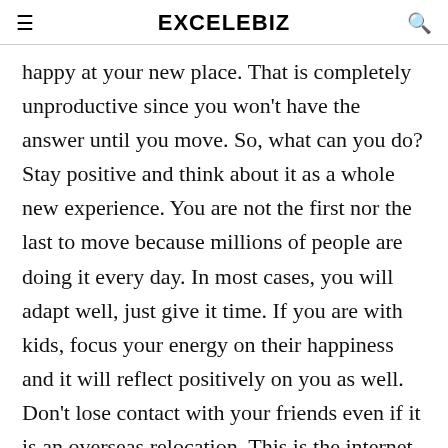EXCELEBIZ
happy at your new place. That is completely unproductive since you won't have the answer until you move. So, what can you do? Stay positive and think about it as a whole new experience. You are not the first nor the last to move because millions of people are doing it every day. In most cases, you will adapt well, just give it time. If you are with kids, focus your energy on their happiness and it will reflect positively on you as well. Don't lose contact with your friends even if it is an overseas relocation. This is the internet age and many
This website uses cookies.
[Figure (infographic): Social sharing buttons: Twitter (blue), Email (black), Pinterest (red), LinkedIn (blue), WhatsApp (green)]